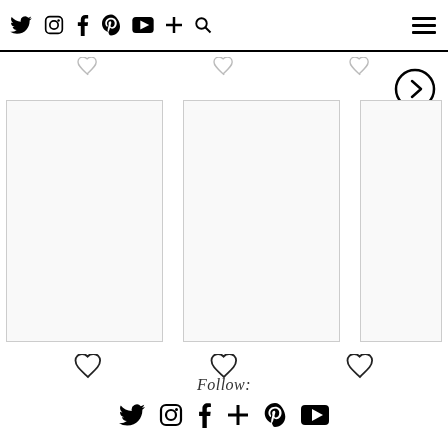[Figure (screenshot): Website navigation bar with social media icons (Twitter, Instagram, Facebook, Pinterest, YouTube, Plus, Search) and a hamburger menu on the right]
[Figure (illustration): Three product image cards in a horizontal carousel with heart/like icons above and below each card, and a right-arrow navigation button]
Follow:
[Figure (illustration): Social media follow icons: Twitter, Instagram, Facebook, Plus, Pinterest, YouTube]